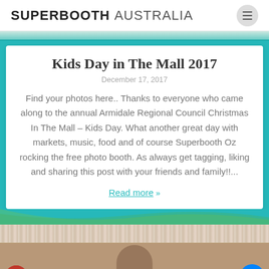SUPERBOOTH AUSTRALIA
[Figure (photo): Partial photo strip at top showing people, cropped]
Kids Day in The Mall 2017
December 17, 2017
Find your photos here.. Thanks to everyone who came along to the annual Armidale Regional Council Christmas In The Mall – Kids Day. What another great day with markets, music, food and of course Superbooth Oz rocking the free photo booth. As always get tagging, liking and sharing this post with your friends and family!!...
Read more »
[Figure (photo): Bottom photo showing a person at a photo booth with lace backdrop, logo overlay bottom-left, Messenger button bottom-right]